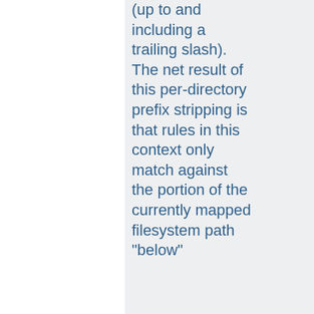(up to and including a trailing slash). The net result of this per-directory prefix stripping is that rules in this context only match against the portion of the currently mapped filesystem path "below"